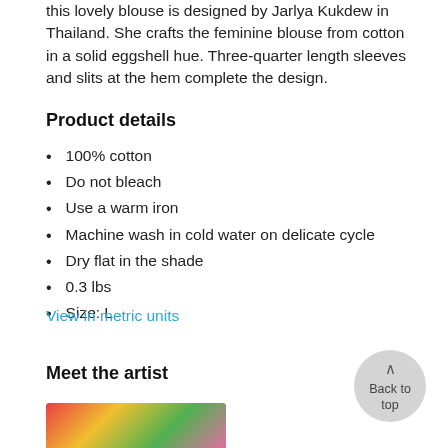this lovely blouse is designed by Jarlya Kukdew in Thailand. She crafts the feminine blouse from cotton in a solid eggshell hue. Three-quarter length sleeves and slits at the hem complete the design.
Product details
100% cotton
Do not bleach
Use a warm iron
Machine wash in cold water on delicate cycle
Dry flat in the shade
0.3 lbs
Size: L
View in metric units
Meet the artist
[Figure (photo): Partial colorful image at the bottom of the page]